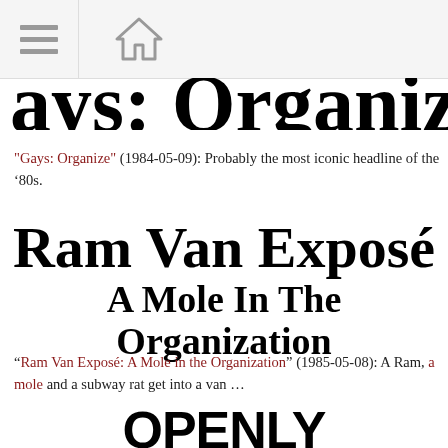[navigation bar with menu and home icons]
ays: Organize (cropped)
"Gays: Organize" (1984-05-09): Probably the most iconic headline of the '80s.
Ram Van Exposé A Mole In The Organization
"Ram Van Exposé: A Mole in the Organization" (1985-05-08): A Ram, a mole and a subway rat get into a van …
OPENLY CONFUSED